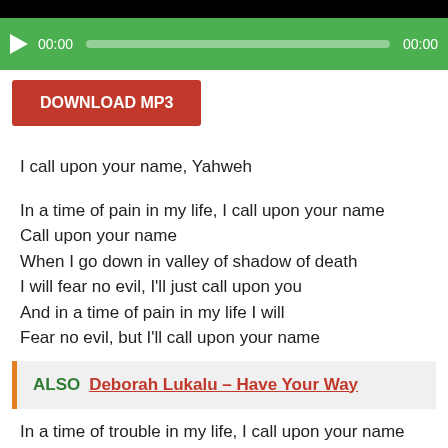[Figure (screenshot): Audio player bar with play button, 00:00 time display, green progress track, and 00:00 end time on green background]
[Figure (screenshot): Red download MP3 button]
I call upon your name, Yahweh
In a time of pain in my life, I call upon your name
Call upon your name
When I go down in valley of shadow of death
I will fear no evil, I'll just call upon you
And in a time of pain in my life I will
Fear no evil, but I'll call upon your name
ALSO  Deborah Lukalu – Have Your Way
In a time of trouble in my life, I call upon your name